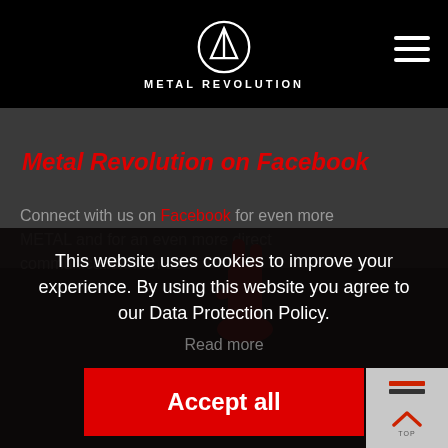METAL REVOLUTION
Metal Revolution on Facebook
Connect with us on Facebook for even more METAL and for an even more direct communication with us.
[Figure (illustration): Red hand rock-on gesture emoji/icon]
This website uses cookies to improve your experience. By using this website you agree to our Data Protection Policy.
Read more
Accept all